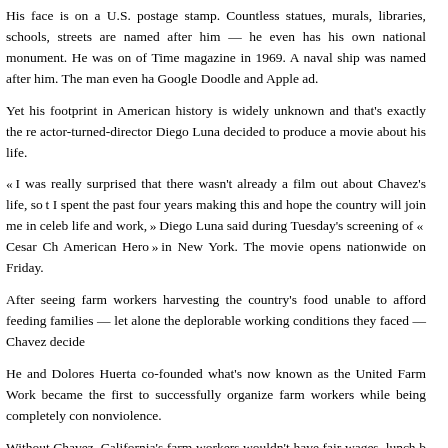His face is on a U.S. postage stamp. Countless statues, murals, libraries, schools, streets are named after him — he even has his own national monument. He was on of Time magazine in 1969. A naval ship was named after him. The man even ha Google Doodle and Apple ad.
Yet his footprint in American history is widely unknown and that's exactly the re actor-turned-director Diego Luna decided to produce a movie about his life.
« I was really surprised that there wasn't already a film out about Chavez's life, so t I spent the past four years making this and hope the country will join me in celeb life and work, » Diego Luna said during Tuesday's screening of « Cesar Ch American Hero » in New York. The movie opens nationwide on Friday.
After seeing farm workers harvesting the country's food unable to afford feeding families — let alone the deplorable working conditions they faced — Chavez decide
He and Dolores Huerta co-founded what's now known as the United Farm Work became the first to successfully organize farm workers while being completely con nonviolence.
Without Chavez, California's farm workers wouldn't have fair wages, lunch b access to toilets or clean water in the fields. Not to mention public awareness dangers of pesticides to farm workers and helping outlaw the short-handled hoe widespread knowledge of its dangers, this tool damaged farm workers' backs.
His civil rights activism has been compared to that of Martin Luther King Jr. and Gandhi.
Difficult conditions in America's fields